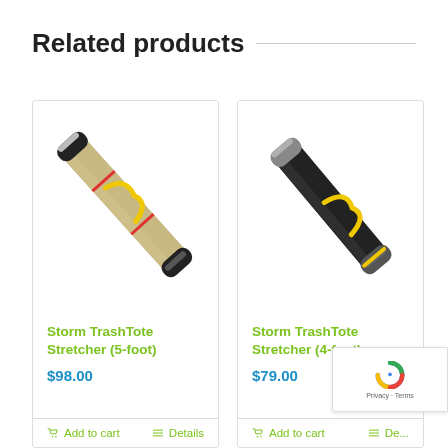Related products
[Figure (photo): Storm TrashTote Stretcher 5-foot product photo — a long tan/gold cylindrical tube with black end caps and a yellow/red handle strap, shown diagonally]
Storm TrashTote Stretcher (5-foot)
$98.00
Add to cart
Details
[Figure (photo): Storm TrashTote Stretcher 4-foot product photo — a black cylindrical tube with silver end caps and a yellow handle strap, shown diagonally]
Storm TrashTote Stretcher (4-foot)
$79.00
Add to cart
De...